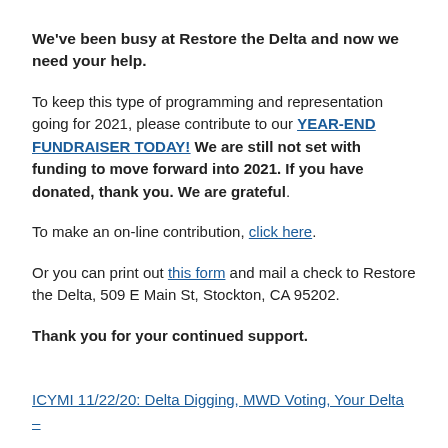We've been busy at Restore the Delta and now we need your help.
To keep this type of programming and representation going for 2021, please contribute to our YEAR-END FUNDRAISER TODAY! We are still not set with funding to move forward into 2021.  If you have donated, thank you.  We are grateful.
To make an on-line contribution, click here.
Or you can print out this form and mail a check to Restore the Delta, 509 E Main St, Stockton, CA 95202.
Thank you for your continued support.
ICYMI 11/22/20: Delta Digging, MWD Voting, Your Delta –